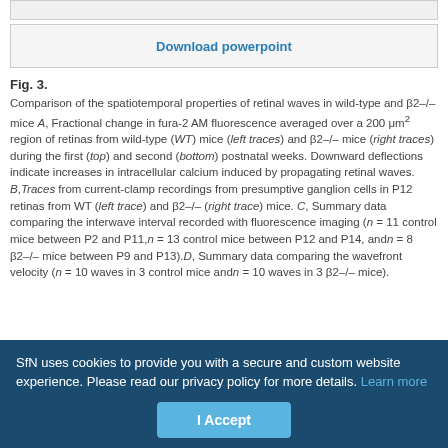[Figure (other): Top partial image strip (cropped figure from previous page)]
Download powerpoint
Fig. 3. Comparison of the spatiotemporal properties of retinal waves in wild-type and β2–/– mice A, Fractional change in fura-2 AM fluorescence averaged over a 200 μm² region of retinas from wild-type (WT) mice (left traces) and β2–/– mice (right traces) during the first (top) and second (bottom) postnatal weeks. Downward deflections indicate increases in intracellular calcium induced by propagating retinal waves. B,Traces from current-clamp recordings from presumptive ganglion cells in P12 retinas from WT (left trace) and β2–/– (right trace) mice. C, Summary data comparing the interwave interval recorded with fluorescence imaging (n = 11 control mice between P2 and P11,n = 13 control mice between P12 and P14, andn = 8 β2–/– mice between P9 and P13).D, Summary data comparing the wavefront velocity (n = 10 waves in 3 control mice andn = 10 waves in 3 β2–/– mice).
SfN uses cookies to provide you with a secure and custom website experience. Please read our privacy policy for more details. Learn more
I Accept